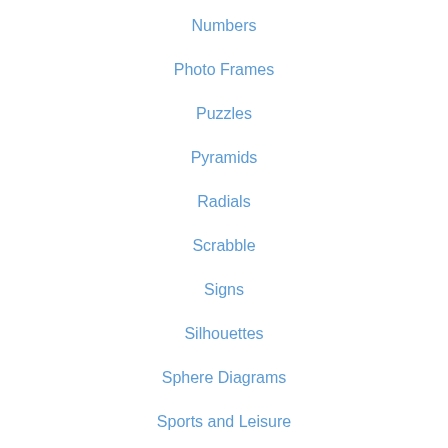Numbers
Photo Frames
Puzzles
Pyramids
Radials
Scrabble
Signs
Silhouettes
Sphere Diagrams
Sports and Leisure
Symbols